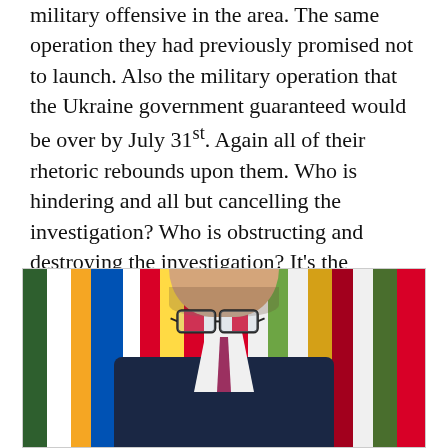military offensive in the area. The same operation they had previously promised not to launch. Also the military operation that the Ukraine government guaranteed would be over by July 31st. Again all of their rhetoric rebounds upon them. Who is hindering and all but cancelling the investigation? Who is obstructing and destroying the investigation? It's the Ukraine government.
[Figure (photo): A man with glasses and short hair wearing a dark suit with a patterned tie, standing in front of colorful international flags. The man appears to be a political figure photographed at an official event.]